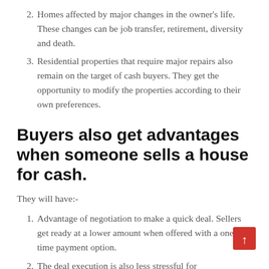2. Homes affected by major changes in the owner's life. These changes can be job transfer, retirement, diversity and death.
3. Residential properties that require major repairs also remain on the target of cash buyers. They get the opportunity to modify the properties according to their own preferences.
Buyers also get advantages when someone sells a house for cash.
They will have:-
1. Advantage of negotiation to make a quick deal. Sellers get ready at a lower amount when offered with a one time payment option.
2. The deal execution is also less stressful for